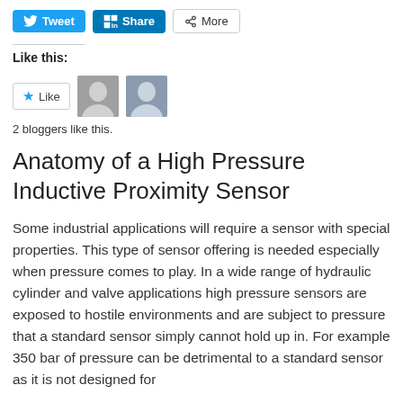[Figure (other): Social sharing buttons: Tweet (Twitter/blue), Share (LinkedIn/blue), More (grey outline)]
Like this:
[Figure (other): Like button with star icon and two blogger avatar photos]
2 bloggers like this.
Anatomy of a High Pressure Inductive Proximity Sensor
Some industrial applications will require a sensor with special properties. This type of sensor offering is needed especially when pressure comes to play. In a wide range of hydraulic cylinder and valve applications high pressure sensors are exposed to hostile environments and are subject to pressure that a standard sensor simply cannot hold up in. For example 350 bar of pressure can be detrimental to a standard sensor as it is not designed for